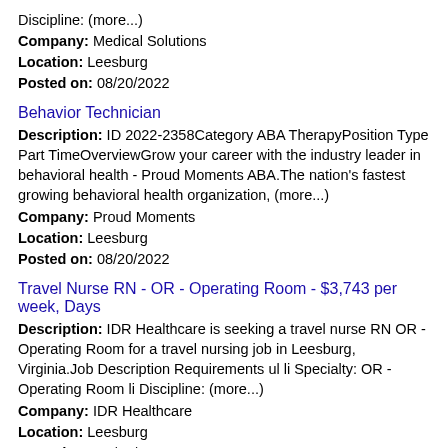Discipline: (more...)
Company: Medical Solutions
Location: Leesburg
Posted on: 08/20/2022
Behavior Technician
Description: ID 2022-2358Category ABA TherapyPosition Type Part TimeOverviewGrow your career with the industry leader in behavioral health - Proud Moments ABA.The nation's fastest growing behavioral health organization, (more...)
Company: Proud Moments
Location: Leesburg
Posted on: 08/20/2022
Travel Nurse RN - OR - Operating Room - $3,743 per week, Days
Description: IDR Healthcare is seeking a travel nurse RN OR - Operating Room for a travel nursing job in Leesburg, Virginia.Job Description Requirements ul li Specialty: OR - Operating Room li Discipline: (more...)
Company: IDR Healthcare
Location: Leesburg
Posted on: 08/20/2022